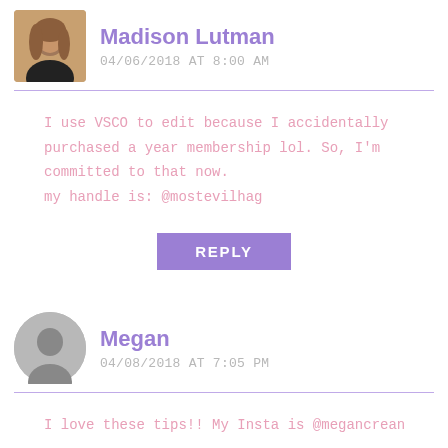Madison Lutman
04/06/2018 AT 8:00 AM
I use VSCO to edit because I accidentally purchased a year membership lol. So, I'm committed to that now.
my handle is: @mostevilhag
REPLY
Megan
04/08/2018 AT 7:05 PM
I love these tips!! My Insta is @megancrean
REPLY